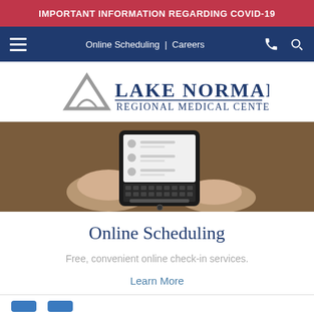IMPORTANT INFORMATION REGARDING COVID-19
Online Scheduling | Careers
[Figure (logo): Lake Norman Regional Medical Center logo with triangular graphic mark in gray and blue text]
[Figure (photo): Person holding a smartphone/tablet device with a list-style interface visible on screen, set against a wooden table background]
Online Scheduling
Free, convenient online check-in services.
Learn More